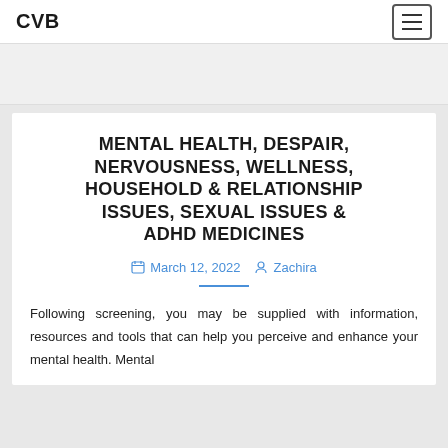CVB
MENTAL HEALTH, DESPAIR, NERVOUSNESS, WELLNESS, HOUSEHOLD & RELATIONSHIP ISSUES, SEXUAL ISSUES & ADHD MEDICINES
March 12, 2022   Zachira
Following screening, you may be supplied with information, resources and tools that can help you perceive and enhance your mental health. Mental